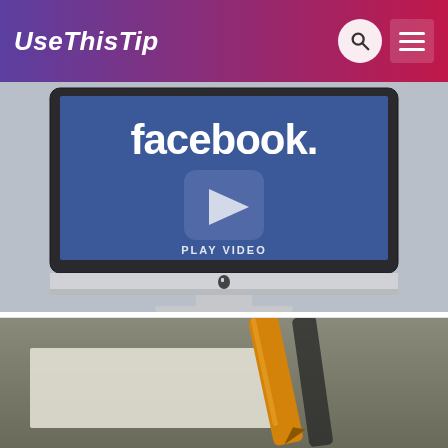UseThisTip
[Figure (screenshot): iMac computer screen displaying Facebook logo with a play video button overlay]
How To Stop Videos From Auto-Playing On Facebook
[Figure (photo): Partial photo of writing instruments on a desk, visible at the bottom of the page]